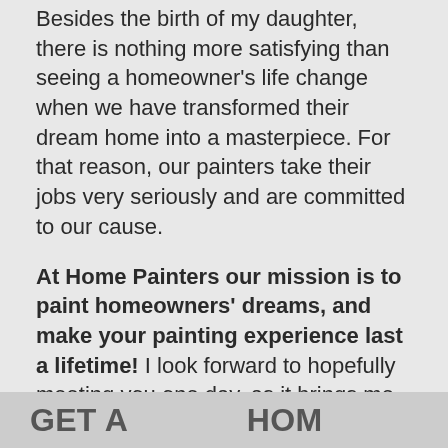Besides the birth of my daughter, there is nothing more satisfying than seeing a homeowner's life change when we have transformed their dream home into a masterpiece. For that reason, our painters take their jobs very seriously and are committed to our cause.
At Home Painters our mission is to paint homeowners' dreams, and make your painting experience last a lifetime! I look forward to hopefully meeting you one day, as it brings me tremendous joy to make homeowner's dreams come true.
READ MORE ABOUT HOME PAINTERS TORONTO